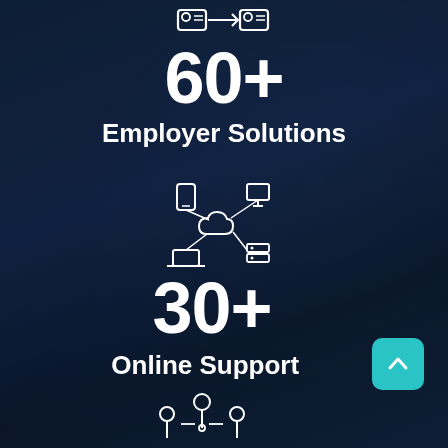[Figure (infographic): White outline icon of two people/IDs connected by an arrow, representing employer solutions]
60+
Employer Solutions
[Figure (infographic): White outline icon of network/cloud connectivity with devices]
30+
Online Support
[Figure (infographic): White outline icon of network of people/community connections at bottom]
[Figure (other): Teal/cyan rounded square button with white chevron-up arrow]